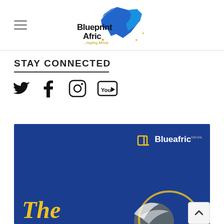[Figure (logo): Blueprint Afric logo with a geometric blue Africa map shape and text 'Blueprint Afric ...nsping Africa']
STAY CONNECTED
[Figure (infographic): Social media icons: Twitter bird, Facebook f, Instagram camera, YouTube play button]
[Figure (photo): Blue banner with Blueafric Media logo in top right, large yellow italic text 'The' in bottom left, decorative white and yellow curved shapes at bottom right. Background is dark royal blue.]